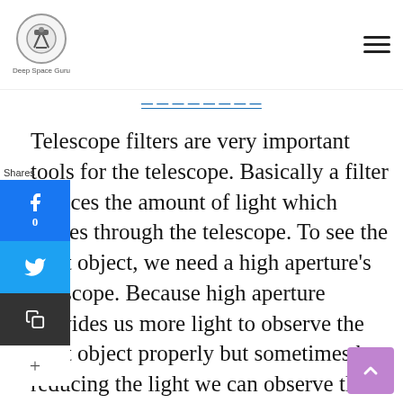Deep Space Guru
Telescope filters are very important tools for the telescope. Basically a filter reduces the amount of light which comes through the telescope. To see the faint object, we need a high aperture's telescope. Because high aperture provides us more light to observe the faint object properly but sometimes by reducing the light we can observe the deep sky object in detail.